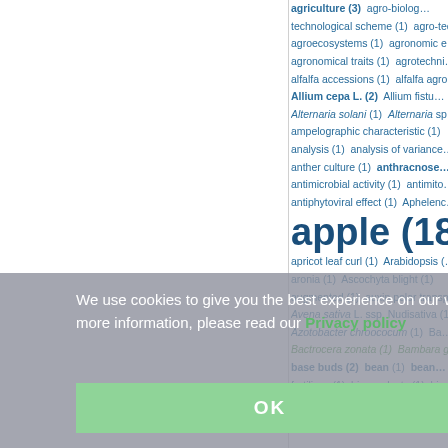[Figure (other): Tag cloud of agricultural/botanical keywords partially visible in the right portion of the page, each followed by frequency count in parentheses. Keywords include: agriculture (3), agro-biological technological scheme (1), agro-technological scheme (1), agroecosystems (1), agronomic e..., agronomical traits (1), agrotechni..., alfalfa accessions (1), alfalfa agro..., Allium cepa L. (2), Allium fistu..., Alternaria solani (1), Alternaria sp..., ampelographic characteristic (1), analysis (1), analysis of variance..., anther culture (1), anthracnose..., antimicrobial activity (1), antimito..., antiphytoviral effect (1), Aphelenc..., apple (18), apricot leaf curl (1), Arabidopsis (1), aronia (1), Ascochyta blight (1), augmented (1), auxin polar transp..., Avena sativa L. ssp. Nudisativa (1), Azotobacter chroococum (1), Ba..., Bactrocera zonata (1), Bambara g..., base buds (2), bean (1), bean..., fertilizes (1), bio-products (1), bio..., biochemical markers (1), biochem..., bioinsecticides (1), biological act...]
We use cookies to give you the best experience on our website. For more information, please read our Privacy policy
OK